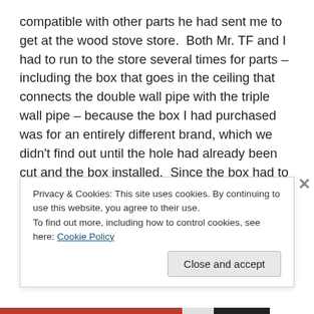compatible with other parts he had sent me to get at the wood stove store.  Both Mr. TF and I had to run to the store several times for parts – including the box that goes in the ceiling that connects the double wall pipe with the triple wall pipe – because the box I had purchased was for an entirely different brand, which we didn't find out until the hole had already been cut and the box installed.  Since the box had to be cut up to fit properly (this is normal) I couldn't take it back – $79 down the drain.  The new box I got was the wrong length so Mr. TF had to go back to get the right one; the flashing and storm cover was the wrong
Privacy & Cookies: This site uses cookies. By continuing to use this website, you agree to their use.
To find out more, including how to control cookies, see here: Cookie Policy
Close and accept